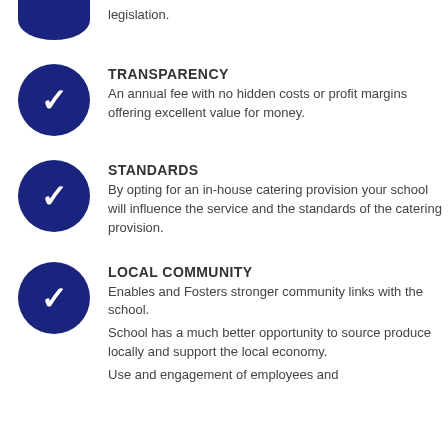legislation.
TRANSPARENCY
An annual fee with no hidden costs or profit margins offering excellent value for money.
STANDARDS
By opting for an in-house catering provision your school will influence the service and the standards of the catering provision.
LOCAL COMMUNITY
Enables and Fosters stronger community links with the school.
School has a much better opportunity to source produce locally and support the local economy.
Use and engagement of employees and